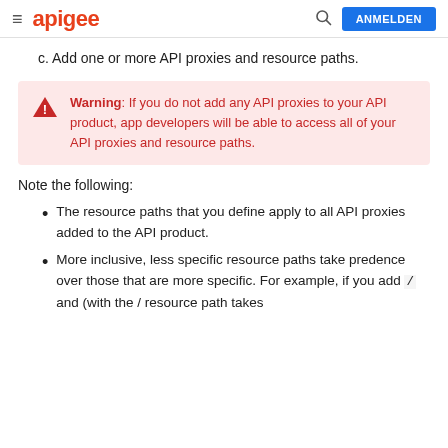apigee | ANMELDEN
c. Add one or more API proxies and resource paths.
Warning: If you do not add any API proxies to your API product, app developers will be able to access all of your API proxies and resource paths.
Note the following:
The resource paths that you define apply to all API proxies added to the API product.
More inclusive, less specific resource paths take predence over those that are more specific. For example, if you add / and (with the / resource path takes...